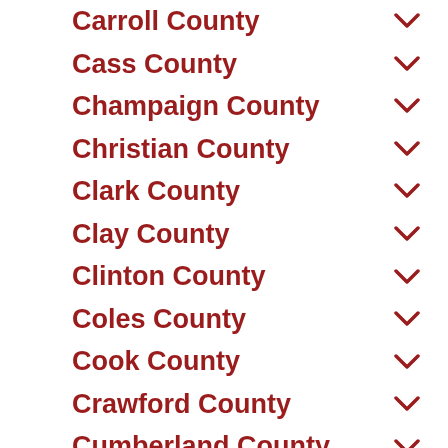Carroll County
Cass County
Champaign County
Christian County
Clark County
Clay County
Clinton County
Coles County
Cook County
Crawford County
Cumberland County
Dekalb County